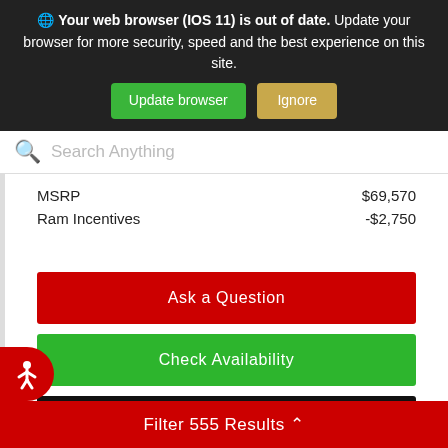🌐 Your web browser (IOS 11) is out of date. Update your browser for more security, speed and the best experience on this site.
Update browser | Ignore
Search Anything
|  |  |
| --- | --- |
| MSRP | $69,570 |
| Ram Incentives | -$2,750 |
Ask a Question
Check Availability
Window Sticker
Filter 555 Results ∧